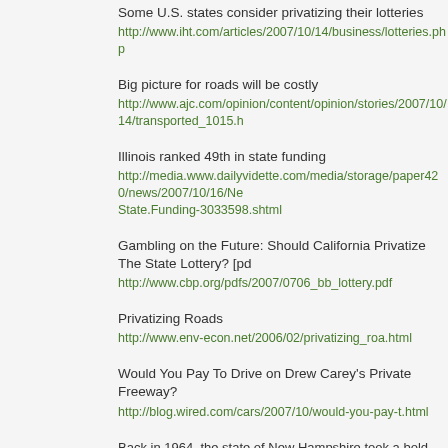Some U.S. states consider privatizing their lotteries
http://www.iht.com/articles/2007/10/14/business/lotteries.php
Big picture for roads will be costly
http://www.ajc.com/opinion/content/opinion/stories/2007/10/14/transported_1015.h
Illinois ranked 49th in state funding
http://media.www.dailyvidette.com/media/storage/paper420/news/2007/10/16/New State.Funding-3033598.shtml
Gambling on the Future: Should California Privatize The State Lottery? [pdf
http://www.cbp.org/pdfs/2007/0706_bb_lottery.pdf
Privatizing Roads
http://www.env-econ.net/2006/02/privatizing_roa.html
Would You Pay To Drive on Drew Carey's Private Freeway?
http://blog.wired.com/cars/2007/10/would-you-pay-t.html
Back in 1964, the state of New Hampshire took a bold and somewhat adve they decided to begin a state-sponsored lottery. Now, lotteries are more or across the United States, and there are a number of such games that span Lotteries are increasingly on the minds of state officials, as they find thems financing pension plans for employees and providing for new programs. Or problem that is floating around is to privatize lotteries and allow them to be operators. Californias Department of Finance recently received such an of Sachs. The proposition suggest that the state could find itself with an extra dollars in its coffers if they agreed to lease the lottery out to this prominent